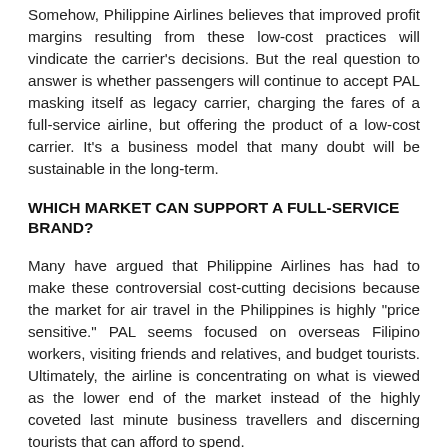Somehow, Philippine Airlines believes that improved profit margins resulting from these low-cost practices will vindicate the carrier's decisions. But the real question to answer is whether passengers will continue to accept PAL masking itself as legacy carrier, charging the fares of a full-service airline, but offering the product of a low-cost carrier. It's a business model that many doubt will be sustainable in the long-term.
WHICH MARKET CAN SUPPORT A FULL-SERVICE BRAND?
Many have argued that Philippine Airlines has had to make these controversial cost-cutting decisions because the market for air travel in the Philippines is highly "price sensitive." PAL seems focused on overseas Filipino workers, visiting friends and relatives, and budget tourists. Ultimately, the airline is concentrating on what is viewed as the lower end of the market instead of the highly coveted last minute business travellers and discerning tourists that can afford to spend.
If Philippine Airlines is indeed concentrating on overseas